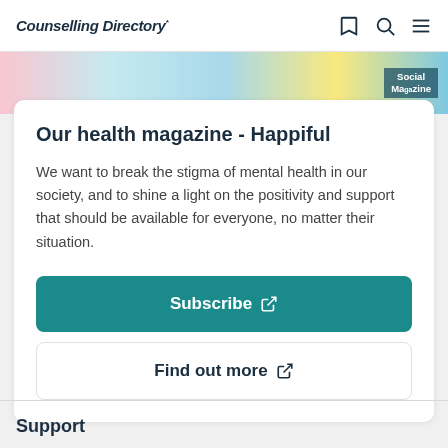Counselling Directory
[Figure (photo): Colorful banner image with people and Social Magazine text overlay]
Our health magazine - Happiful
We want to break the stigma of mental health in our society, and to shine a light on the positivity and support that should be available for everyone, no matter their situation.
Subscribe
Find out more
Support